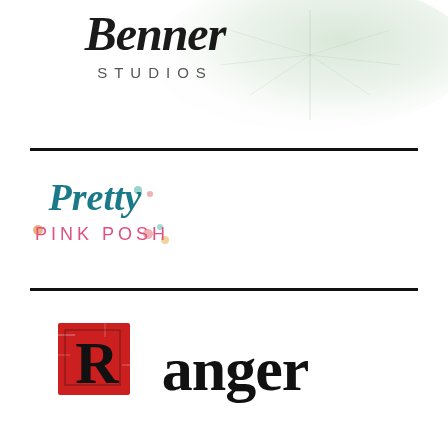[Figure (logo): Benner Studios logo with cursive/script text 'Benner' in black and 'STUDIOS' in spaced grey capitals, overlaid on a green watercolor leaf background]
[Figure (logo): Pretty Pink Posh logo with 'Pretty' in teal cursive script and 'PINK POSH' in pink spaced letters, with small colorful dots scattered around]
[Figure (logo): Ranger logo with bold black serif text 'Ranger' and a red distressed ink splatter square behind the 'R']